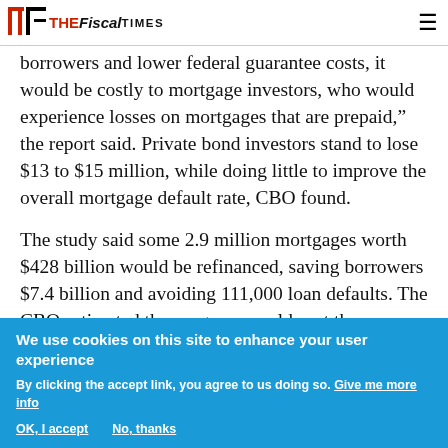THE FISCAL TIMES
borrowers and lower federal guarantee costs, it would be costly to mortgage investors, who would experience losses on mortgages that are prepaid," the report said. Private bond investors stand to lose $13 to $15 million, while doing little to improve the overall mortgage default rate, CBO found.
The study said some 2.9 million mortgages worth $428 billion would be refinanced, saving borrowers $7.4 billion and avoiding 111,000 loan defaults. The CBO estimated the program would cost the
We use cookies on this site to enhance your user experience
By clicking the accept link, you agree to us doing so. Give me more info
OK, I accept   No, thanks